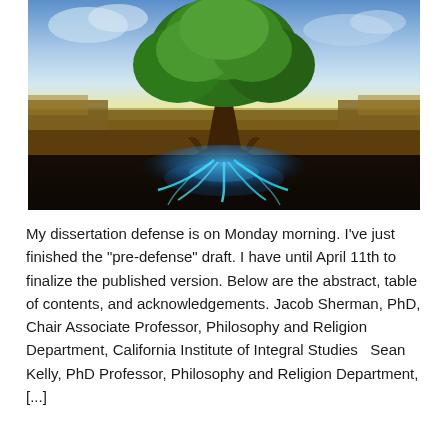[Figure (photo): A dramatic artistic photo of a large tree above ground against a sky with sunlight, and below ground the roots are illuminated with glowing blue light in dark soil.]
My dissertation defense is on Monday morning. I've just finished the "pre-defense" draft. I have until April 11th to finalize the published version. Below are the abstract, table of contents, and acknowledgements. Jacob Sherman, PhD, Chair Associate Professor, Philosophy and Religion Department, California Institute of Integral Studies   Sean Kelly, PhD Professor, Philosophy and Religion Department, [...]